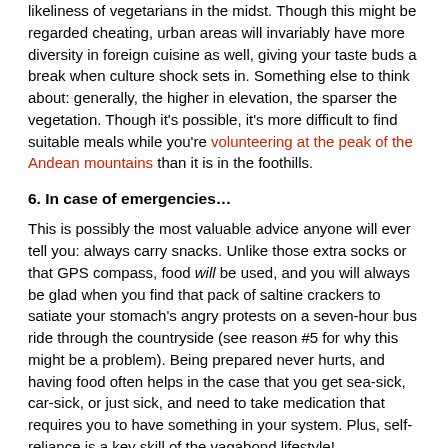likeliness of vegetarians in the midst. Though this might be regarded cheating, urban areas will invariably have more diversity in foreign cuisine as well, giving your taste buds a break when culture shock sets in. Something else to think about: generally, the higher in elevation, the sparser the vegetation. Though it's possible, it's more difficult to find suitable meals while you're volunteering at the peak of the Andean mountains than it is in the foothills.
6. In case of emergencies…
This is possibly the most valuable advice anyone will ever tell you: always carry snacks. Unlike those extra socks or that GPS compass, food will be used, and you will always be glad when you find that pack of saltine crackers to satiate your stomach's angry protests on a seven-hour bus ride through the countryside (see reason #5 for why this might be a problem). Being prepared never hurts, and having food often helps in the case that you get sea-sick, car-sick, or just sick, and need to take medication that requires you to have something in your system. Plus, self-reliance is a key skill of the vagabond lifestyle!
7. Just say no.
At the end of the day, your diet is up to you. Being a vegetarian is about more than just abstaining from meat for health purposes; for many, vegetarianism is an ideology that embodies how that person sees him or herself in the universal community. Though this might be a legitimate fear for some, in reality, no one is going to force-feed you something you don't want to eat. You shouldn't have to sacrifice your beliefs to be able to experience a culture, even though meat is a significant part of many. As every traveler knows, where there's a will